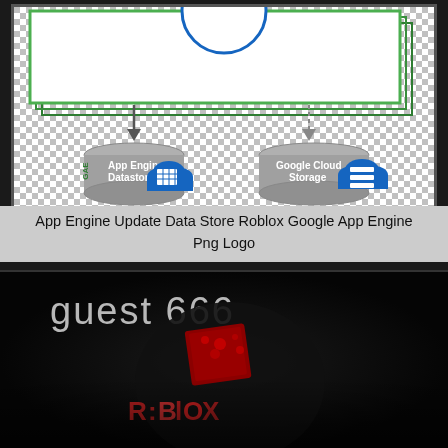[Figure (schematic): Google App Engine architecture diagram showing a green-bordered box at top (partially cropped blue circle above), with arrows pointing down to two cylinder/cloud icons: 'GAE App Engine Datastore' on the left and 'Google Cloud Storage' on the right, with checkerboard transparent background.]
App Engine Update Data Store Roblox Google App Engine Png Logo
[Figure (photo): Dark image showing 'guest 666' text in light gray on black background, with a dark Roblox character figure showing red and a distressed Roblox logo (R:BIOX style) in the lower portion.]